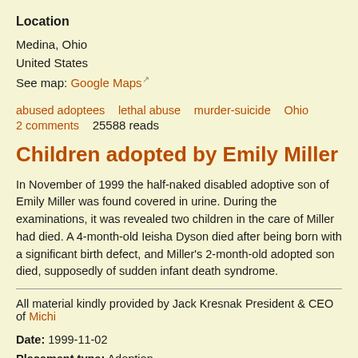Location
Medina, Ohio
United States
See map: Google Maps
abused adoptees    lethal abuse    murder-suicide    Ohio
2 comments    25588 reads
Children adopted by Emily Miller
In November of 1999 the half-naked disabled adoptive son of Emily Mil... urine. During the examinations, it was revealed two children in the care... month-old Ieisha Dyson died after being born with a significant birth de... old adopted son died, supposedly of sudden infant death syndrome.
All material kindly provided by Jack Kresnak President & CEO of Michi...
Date: 1999-11-02
Placement type: Adoption
Type of abuse: Non-lethal physical abuse, Lethal physical abuse
Abuser: Adoptive mother
Disabilities: yes